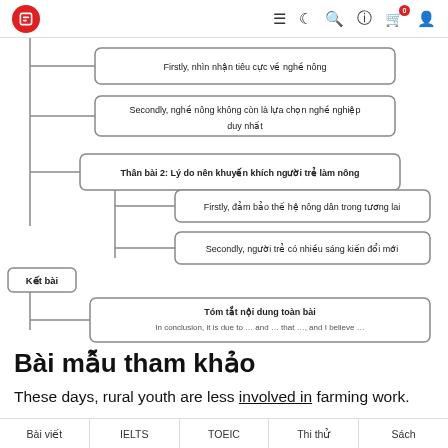Navigation bar with logo and icons
[Figure (flowchart): A flowchart/mind-map showing essay structure. Thân bài 2 node branches to: 'Firstly, nhìn nhận tiêu cực về nghề nông', 'Secondly, nghề nông không còn là lựa chọn nghề nghiệp duy nhất', 'Thân bài 2: Lý do nên khuyến khích người trẻ làm nông' (bold), which branches to 'Firstly, đảm bảo thế hệ nông dân trong tương lai', 'Secondly, người trẻ có nhiều sáng kiến đổi mới'. Kết bài node branches to 'Tóm tắt nội dung toàn bài / In conclusion, it is due to … and … that …, and I believe …']
Bài mẫu tham khảo
These days, rural youth are less involved in farming work.
Bài viết | IELTS | TOEIC | Thi thử | Sách